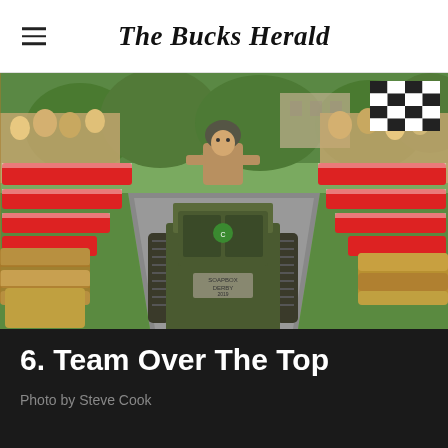The Bucks Herald
[Figure (photo): A man dressed in WWI military costume driving a miniature tank-shaped soapbox derby cart down a hill, flanked by red and white barriers and hay bales, with crowds watching on both sides. A checkered flag is visible in the top right corner.]
6. Team Over The Top
Photo by Steve Cook